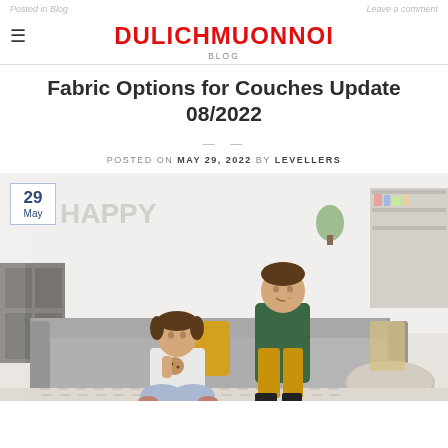Posted in Blog | Leave a comment
DULICHMUONNOI | BLOG
Fabric Options for Couches Update 08/2022
POSTED ON MAY 29, 2022 BY LEVELLERS
[Figure (photo): Two children on a grey sectional couch in a modern living room. A boy in a plaid shirt and yellow pants sits on the couch making a shushing gesture, while a girl in a white top and jeans sits on the floor eating a cookie. A date badge showing '29 May' is overlaid in the top left corner.]